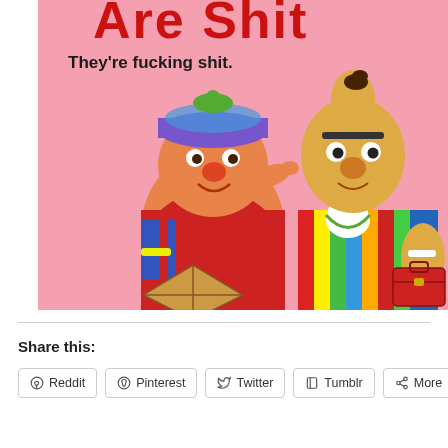[Figure (illustration): Book cover image on pink background showing Sesame Street characters Ernie (wearing a blue/purple cap and red striped shirt, holding a kite) and Bert (in colorful striped shirt holding a red case). Bold red text at top reads 'Are Shit' and subtitle below reads 'They're fucking shit.']
Share this:
Reddit
Pinterest
Twitter
Tumblr
More